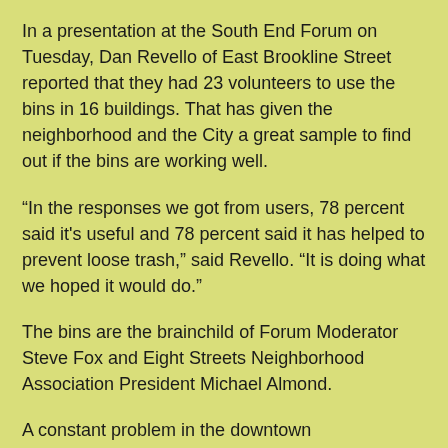In a presentation at the South End Forum on Tuesday, Dan Revello of East Brookline Street reported that they had 23 volunteers to use the bins in 16 buildings. That has given the neighborhood and the City a great sample to find out if the bins are working well.
“In the responses we got from users, 78 percent said it's useful and 78 percent said it has helped to prevent loose trash,” said Revello. “It is doing what we hoped it would do.”
The bins are the brainchild of Forum Moderator Steve Fox and Eight Streets Neighborhood Association President Michael Almond.
A constant problem in the downtown neighborhoods is that residents don’t have a place to store large trash barrels, which has resulted in bags being on the streets. That ends up being a trash-pickers heyday, closely followed up by an open air buffet for rats and mice – and squirrels on occasion. In an effort to curb the loose trash and critter problem in the South End, Fox and Almond